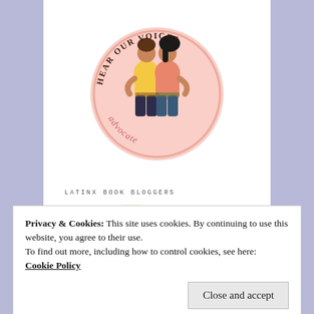[Figure (logo): Hear Our Voices Advocate circular logo with two women hugging, wearing yellow and pink/coral tops, dark bottoms. Text 'HEAR OUR VOICES' arcs around the top and 'advocate' in script at the bottom. Pink/peach circular background.]
LATINX BOOK BLOGGERS
[Figure (logo): Latinx Book Bloggers logo with bold black text 'LATINX BOOK BLOGGERS' over a pale yellow circle, with 'directory' in light gray italic script below.]
Privacy & Cookies: This site uses cookies. By continuing to use this website, you agree to their use.
To find out more, including how to control cookies, see here:
Cookie Policy
Close and accept